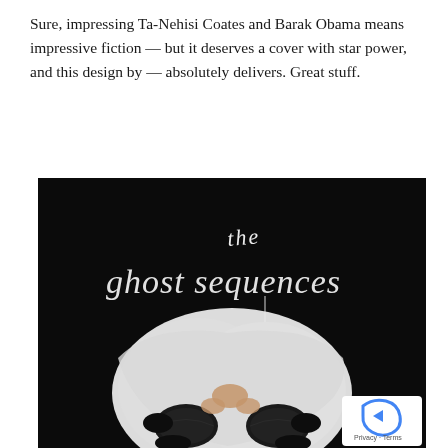Sure, impressing Ta-Nehisi Coates and Barak Obama means impressive fiction — but it deserves a cover with star power, and this design by — absolutely delivers. Great stuff.
[Figure (illustration): Book cover for 'the ghost sequences' — dark black background with white handwritten-style title text at top, and two figures in white garments with dark hair buns facing downward, curled together in the lower half of the image.]